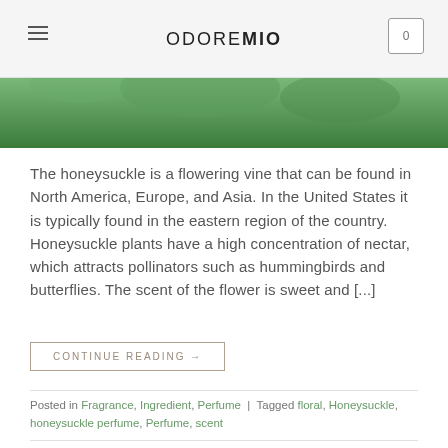ODORE MIO
[Figure (photo): Green plant/flower hero image strip]
The honeysuckle is a flowering vine that can be found in North America, Europe, and Asia. In the United States it is typically found in the eastern region of the country. Honeysuckle plants have a high concentration of nectar, which attracts pollinators such as hummingbirds and butterflies. The scent of the flower is sweet and [...]
CONTINUE READING →
Posted in Fragrance, Ingredient, Perfume | Tagged floral, Honeysuckle, honeysuckle perfume, Perfume, scent